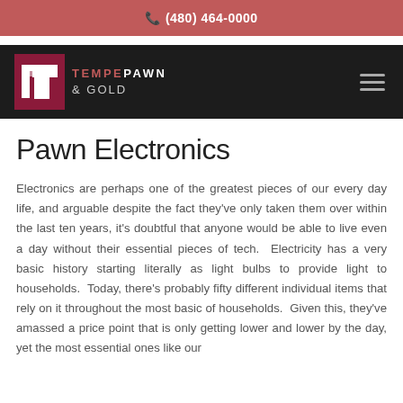(480) 464-0000
[Figure (logo): Tempe Pawn & Gold logo with stylized T icon on dark background, navigation bar with hamburger menu]
Pawn Electronics
Electronics are perhaps one of the greatest pieces of our every day life, and arguable despite the fact they've only taken them over within the last ten years, it's doubtful that anyone would be able to live even a day without their essential pieces of tech.  Electricity has a very basic history starting literally as light bulbs to provide light to households.  Today, there's probably fifty different individual items that rely on it throughout the most basic of households.  Given this, they've amassed a price point that is only getting lower and lower by the day, yet the most essential ones like our